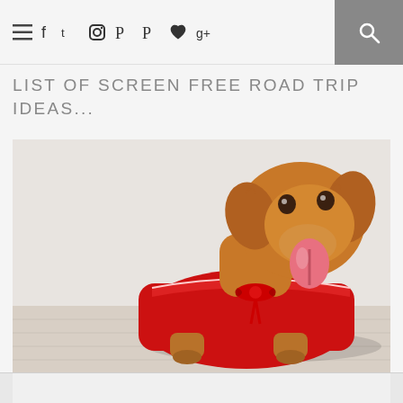≡  f  t  ◎  ♥  g+  🔍
LIST OF SCREEN FREE ROAD TRIP IDEAS...
[Figure (photo): A golden retriever dog wearing a red hooded cape/cloak with a red bow at the neck, lying on a light wooden floor against a white wall, tongue out and looking at the camera.]